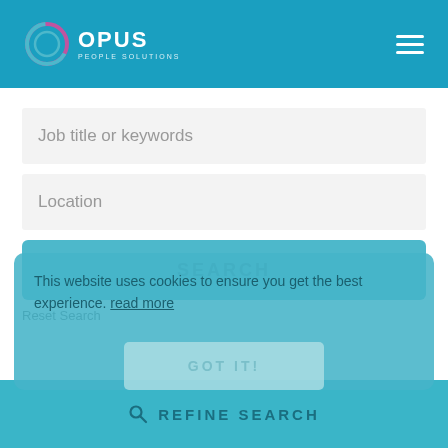[Figure (logo): Opus People Solutions logo with circular teal/purple ring icon and white text on blue header]
Job title or keywords
Location
SEARCH
Reset Search
This website uses cookies to ensure you get the best experience. read more
GOT IT!
REFINE SEARCH